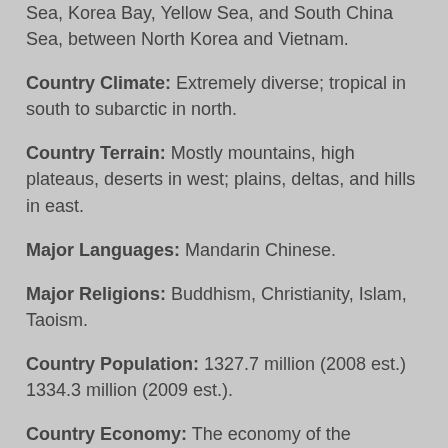Sea, Korea Bay, Yellow Sea, and South China Sea, between North Korea and Vietnam.
Country Climate: Extremely diverse; tropical in south to subarctic in north.
Country Terrain: Mostly mountains, high plateaus, deserts in west; plains, deltas, and hills in east.
Major Languages: Mandarin Chinese.
Major Religions: Buddhism, Christianity, Islam, Taoism.
Country Population: 1327.7 million (2008 est.) 1334.3 million (2009 est.).
Country Economy: The economy of the People's Republic of China is a rapidly developing and influential market economy. China is the one of the worlds largest economies. China has had the fastest-growing major economy for the past 30 years with an average annual GDP growth rate above 10%. China's per capita income has likewise grown at